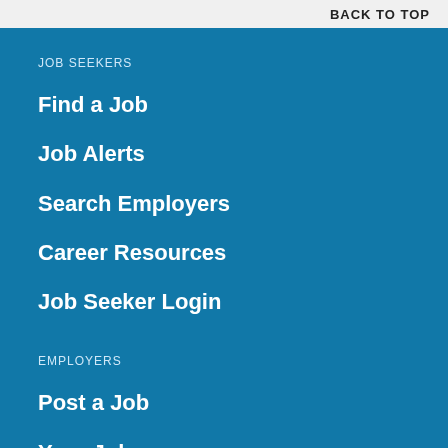BACK TO TOP
JOB SEEKERS
Find a Job
Job Alerts
Search Employers
Career Resources
Job Seeker Login
EMPLOYERS
Post a Job
Your Jobs
Employer Login